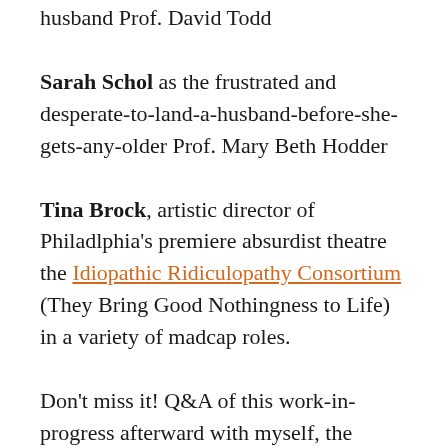husband Prof. David Todd
Sarah Schol as the frustrated and desperate-to-land-a-husband-before-she-gets-any-older Prof. Mary Beth Hodder
Tina Brock, artistic director of Philadlphia's premiere absurdist theatre the Idiopathic Ridiculopathy Consortium (They Bring Good Nothingness to Life) in a variety of madcap roles.
Don't miss it! Q&A of this work-in-progress afterward with myself, the director, and much of the cast.
WHEN: Thursday, July 12 @7:00pm